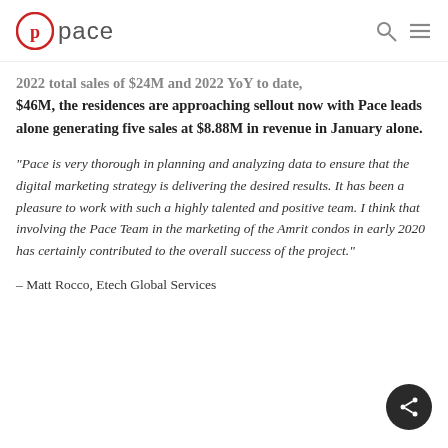pace
2022 total sales of $24M and 2022 YoY to date, $46M, the residences are approaching sellout now with Pace leads alone generating five sales at $8.88M in revenue in January alone.
“Pace is very thorough in planning and analyzing data to ensure that the digital marketing strategy is delivering the desired results. It has been a pleasure to work with such a highly talented and positive team. I think that involving the Pace Team in the marketing of the Amrit condos in early 2020 has certainly contributed to the overall success of the project.”
– Matt Rocco, Etech Global Services